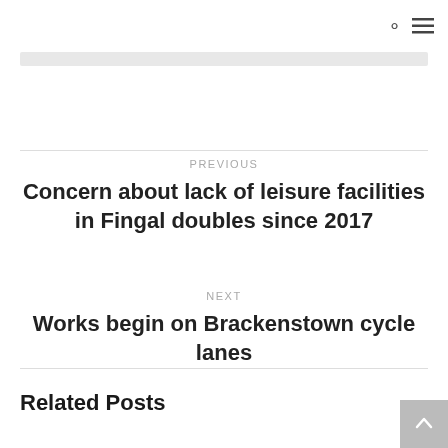PREVIOUS
Concern about lack of leisure facilities in Fingal doubles since 2017
NEXT
Works begin on Brackenstown cycle lanes
Related Posts